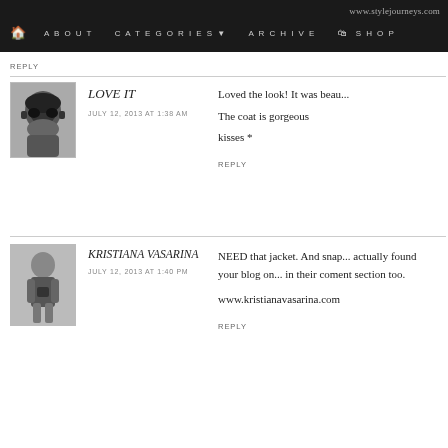www.stylejourneys.com | ABOUT | CATEGORIES ▼ | ARCHIVE | SHOP
REPLY
LOVE IT
JULY 12, 2013 AT 1:38 AM
Loved the look! It was beau...
The coat is gorgeous
kisses *
REPLY
KRISTIANA VASARINA
JULY 12, 2013 AT 1:40 PM
NEED that jacket. And snap... actually found your blog on... in their coment section too.
www.kristianavasarina.com
REPLY